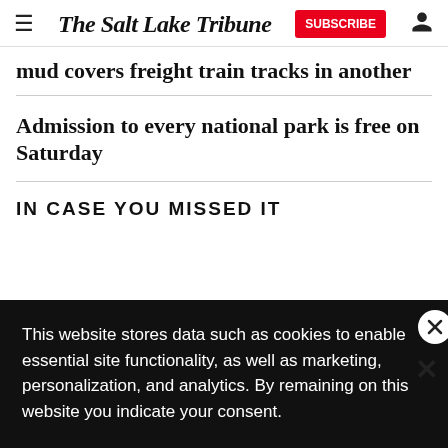The Salt Lake Tribune | SUBSCRIBE
mud covers freight train tracks in another
Admission to every national park is free on Saturday
IN CASE YOU MISSED IT
or the public': Judge grants to police ng records ordan foug
This website stores data such as cookies to enable essential site functionality, as well as marketing, personalization, and analytics. By remaining on this website you indicate your consent.
Data Storage Policy